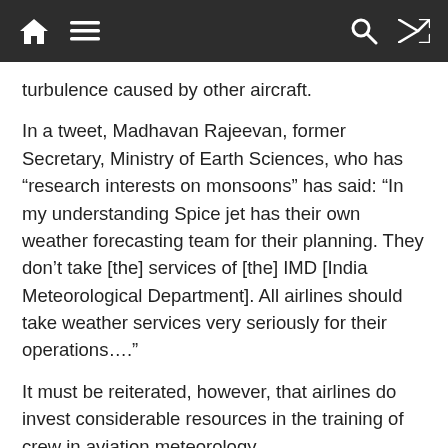[navigation bar with home, menu, search, shuffle icons]
turbulence caused by other aircraft.
In a tweet, Madhavan Rajeevan, former Secretary, Ministry of Earth Sciences, who has “research interests on monsoons” has said: “In my understanding Spice jet has their own weather forecasting team for their planning. They don’t take [the] services of [the] IMD [India Meteorological Department]. All airlines should take weather services very seriously for their operations….”
It must be reiterated, however, that airlines do invest considerable resources in the training of crew in aviation meteorology.
Captain A. (Mohan) Ranganathan, a former airline instructor pilot and aviation safety adviser, who